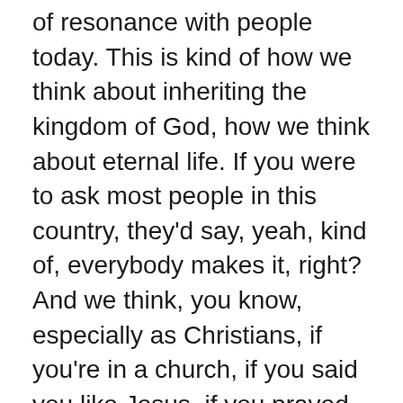of resonance with people today. This is kind of how we think about inheriting the kingdom of God, how we think about eternal life. If you were to ask most people in this country, they'd say, yeah, kind of, everybody makes it, right? And we think, you know, especially as Christians, if you're in a church, if you said you like Jesus, if you prayed the prayers sometime, they all make it, okay? So most people, you all make it, eh, well, of course there are some really bad people. We can't everybody. I mean, you gotta have some place for Hitler, you've gotta have some